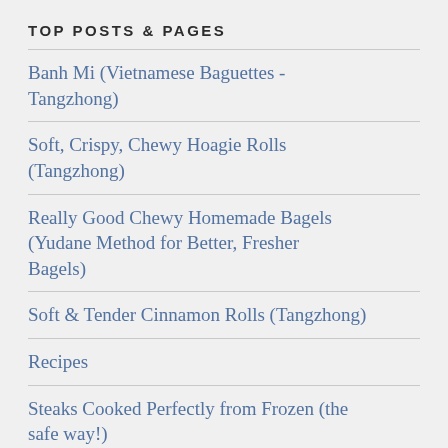TOP POSTS & PAGES
Banh Mi (Vietnamese Baguettes - Tangzhong)
Soft, Crispy, Chewy Hoagie Rolls (Tangzhong)
Really Good Chewy Homemade Bagels (Yudane Method for Better, Fresher Bagels)
Soft & Tender Cinnamon Rolls (Tangzhong)
Recipes
Steaks Cooked Perfectly from Frozen (the safe way!)
Turon (Filipino Banana Spring Rolls)